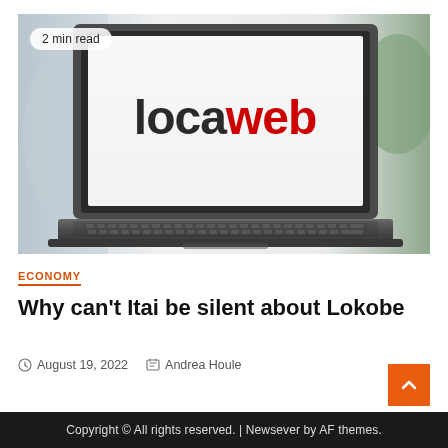[Figure (photo): Laptop screen displaying the Locaweb logo — 'loca' in dark gray and 'web' in red — on a white screen, with keyboard visible at the bottom, blurred background.]
2 min read
ECONOMY
Why can't Itai be silent about Lokobe
August 19, 2022   Andrea Houle
Copyright © All rights reserved. | Newsever by AF themes.